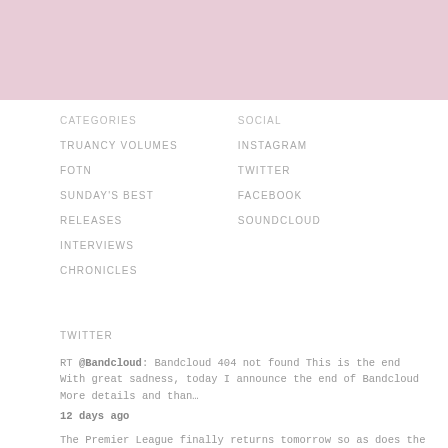[Figure (other): Pink/mauve colored header banner area]
CATEGORIES
TRUANCY VOLUMES
FOTN
SUNDAY'S BEST
RELEASES
INTERVIEWS
CHRONICLES
SOCIAL
INSTAGRAM
TWITTER
FACEBOOK
SOUNDCLOUD
TWITTER
RT @Bandcloud: Bandcloud 404 not found This is the end With great sadness, today I announce the end of Bandcloud More details and than…
12 days ago
The Premier League finally returns tomorrow so as does the